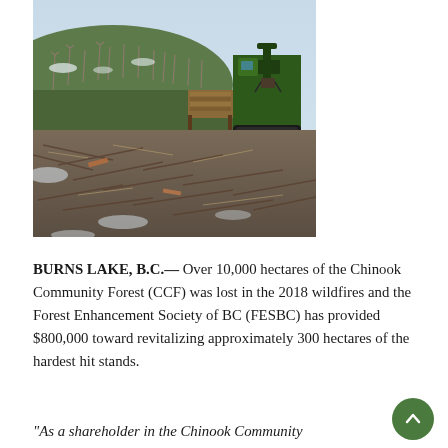[Figure (photo): Logging clearcut site after wildfire damage, showing debris, slash piles, and a green logging machine (harvester/processor) operating on the site. Background shows damaged/dead trees on a hillside.]
BURNS LAKE, B.C.— Over 10,000 hectares of the Chinook Community Forest (CCF) was lost in the 2018 wildfires and the Forest Enhancement Society of BC (FESBC) has provided $800,000 toward revitalizing approximately 300 hectares of the hardest hit stands.
"As a shareholder in the Chinook Community